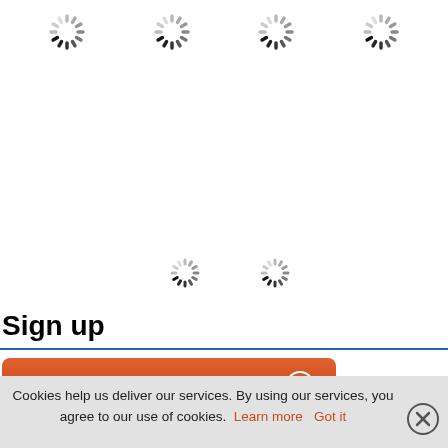[Figure (screenshot): Loading spinner icons arranged in a row at the top of the page (four spinners) and two spinners in the middle of the page]
Sign up
[Figure (screenshot): Orange rounded button labeled 'Subscribe to our Newsletter' with a circled arrow icon]
Cookies help us deliver our services. By using our services, you agree to our use of cookies. Learn more Got it